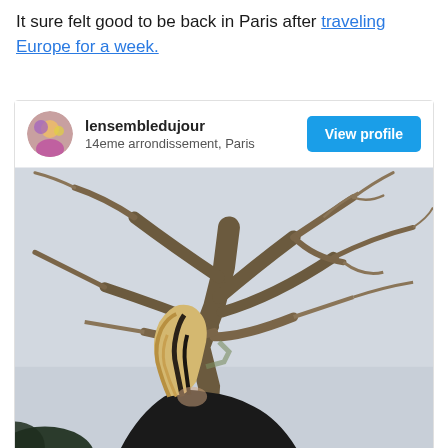It sure felt good to be back in Paris after traveling Europe for a week.
[Figure (screenshot): Instagram-style social media card for user 'lensembledujour' located in '14eme arrondissement, Paris' with a 'View profile' button, and a photo of a woman with blonde/dark streaked hair looking down, standing in front of a large bare tree with branches spread against a grey sky.]